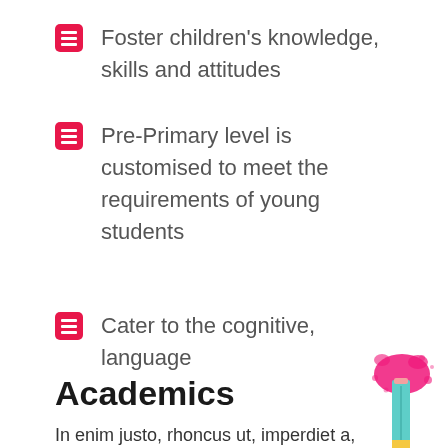Foster children's knowledge, skills and attitudes
Pre-Primary level is customised to meet the requirements of young students
Cater to the cognitive, language
Academics
In enim justo, rhoncus ut, imperdiet a, venenatis vitae, justo.